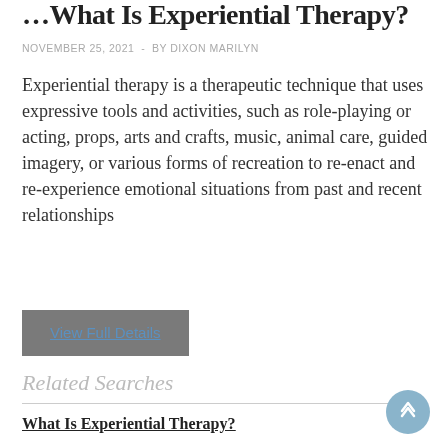What Is Experiential Therapy?
NOVEMBER 25, 2021  -  BY DIXON MARILYN
Experiential therapy is a therapeutic technique that uses expressive tools and activities, such as role-playing or acting, props, arts and crafts, music, animal care, guided imagery, or various forms of recreation to re-enact and re-experience emotional situations from past and recent relationships
View Full Details
Related Searches
What Is Experiential Therapy?